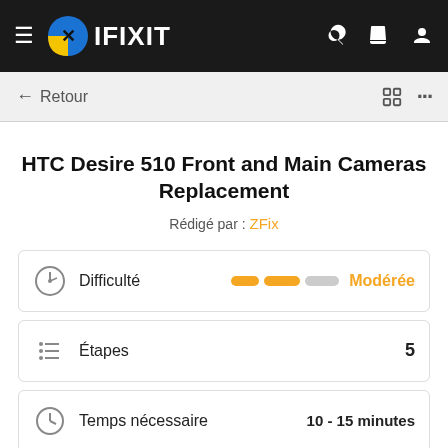IFIXIT
HTC Desire 510 Front and Main Cameras Replacement
Rédigé par : ZFix
| Propriété | Valeur |
| --- | --- |
| Difficulté | Modérée |
| Étapes | 5 |
| Temps nécessaire | 10 - 15 minutes |